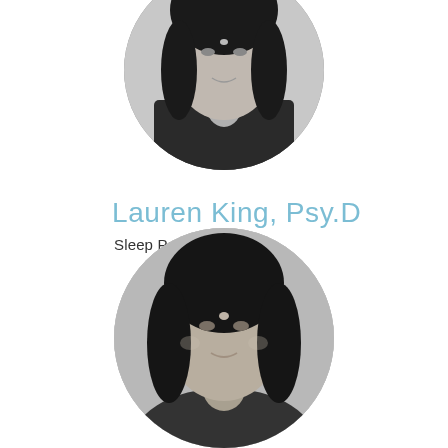[Figure (photo): Circular black-and-white portrait photo of Lauren King, a woman with dark hair wearing a dark blazer, cropped at top of page]
Lauren King, Psy.D
Sleep Psychologist
[Figure (photo): Circular black-and-white portrait photo of a second woman with dark hair, partially visible at bottom of page]